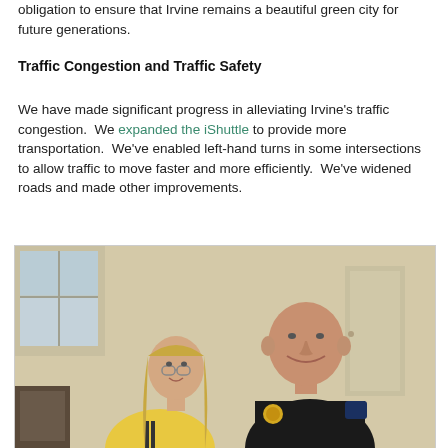obligation to ensure that Irvine remains a beautiful green city for future generations.
Traffic Congestion and Traffic Safety
We have made significant progress in alleviating Irvine’s traffic congestion.  We expanded the iShuttle to provide more transportation.  We’ve enabled left-hand turns in some intersections to allow traffic to move faster and more efficiently.  We’ve widened roads and made other improvements.
[Figure (photo): Two people smiling for a photo indoors: a woman with long blonde hair wearing glasses and a yellow top, and a man in a black police uniform with a badge, standing together in a room with light-colored walls and windows.]